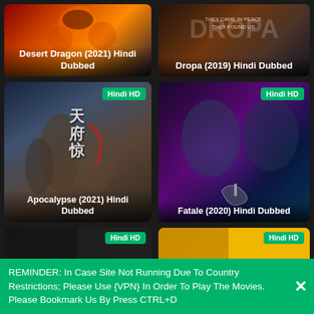[Figure (screenshot): Movie poster for Desert Dragon (2021) Hindi Dubbed - fantasy/action Chinese film with fire and dragon imagery]
[Figure (screenshot): Movie poster for Dropa (2019) Hindi Dubbed - sci-fi film with text 'THEY CAME IN PEACE. THEY FOUND US.']
[Figure (screenshot): Movie poster for Apocalypse (2021) Hindi Dubbed - Chinese action film with warriors and Chinese characters, Hindi HD badge]
[Figure (screenshot): Movie poster for Fatale (2020) Hindi Dubbed - thriller with purple/blue toned faces and snake imagery, Hindi HD badge]
[Figure (screenshot): Partial movie poster, left side, Hindi HD badge visible]
[Figure (screenshot): Partial movie poster, right side, yellow/orange tones, Hindi HD badge visible]
REMINDER: In Case Site Not Running Due To Country Restrictions; Please Use {VPN} In Order To Play The Movies. Please Bookmark Us By Press CTRL+D